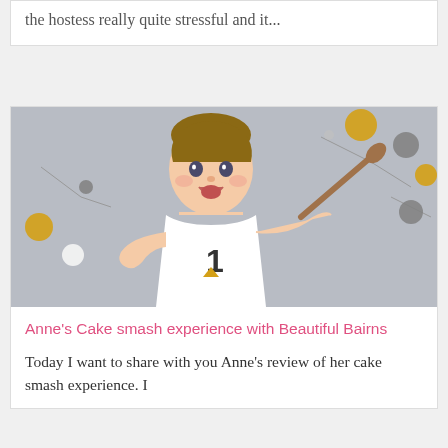the hostess really quite stressful and it...
[Figure (photo): A smiling baby wearing a white onesie with the number 1, holding a wooden spoon, with yellow, grey, and white circular decorations in the background on a grey backdrop.]
Anne's Cake smash experience with Beautiful Bairns
Today I want to share with you Anne's review of her cake smash experience. I